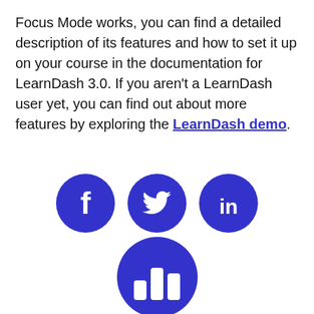Focus Mode works, you can find a detailed description of its features and how to set it up on your course in the documentation for LearnDash 3.0. If you aren't a LearnDash user yet, you can find out about more features by exploring the LearnDash demo.
[Figure (infographic): Three blue circular social media icons: Facebook (f), Twitter (bird), LinkedIn (in)]
[Figure (logo): Large blue circular logo with a bar chart / analytics icon in white]